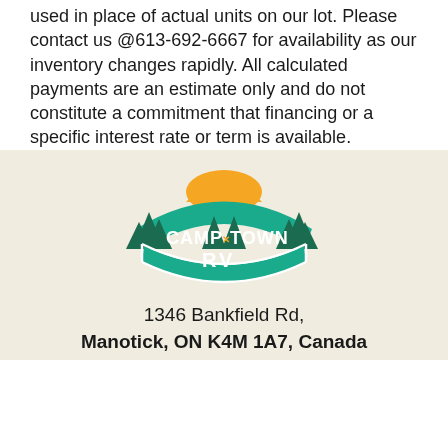used in place of actual units on our lot. Please contact us @613-692-6667 for availability as our inventory changes rapidly. All calculated payments are an estimate only and do not constitute a commitment that financing or a specific interest rate or term is available.
[Figure (logo): Camp Town RV logo with teal arch banner reading CAMP x TOWN RV, pine trees, and an orange/yellow sun/wave above]
1346 Bankfield Rd,
Manotick, ON K4M 1A7, Canada